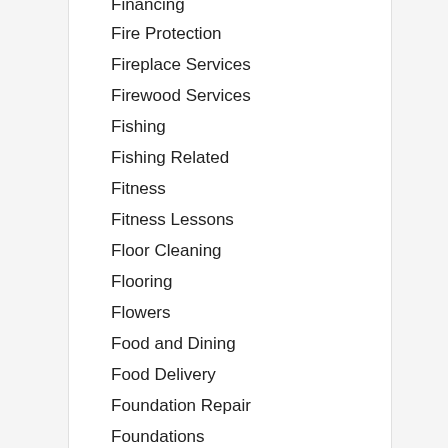Financing
Fire Protection
Fireplace Services
Firewood Services
Fishing
Fishing Related
Fitness
Fitness Lessons
Floor Cleaning
Flooring
Flowers
Food and Dining
Food Delivery
Foundation Repair
Foundations
Freelancers